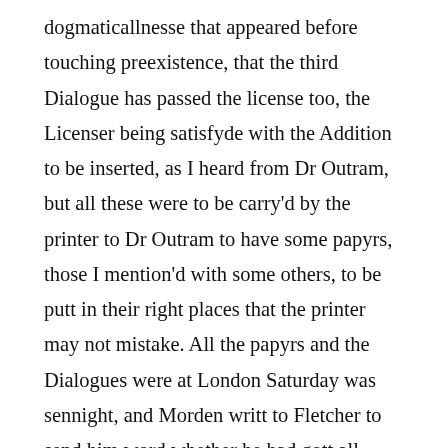dogmaticallnesse that appeared before touching preexistence, that the third Dialogue has passed the license too, the Licenser being satisfyde with the Addition to be inserted, as I heard from Dr Outram, but all these were to be carry'd by the printer to Dr Outram to have some papyrs, those I mention'd with some others, to be putt in their right places that the printer may not mistake. All the papyrs and the Dialogues were at London Saturday was sennight, and Morden writt to Fletcher to send him word whether he had gott all dispatched with Dr Outram, so soone as possibly he could, and a proof of it might be possible, but hearing no thing from Fletcher since I and a some others I did it is